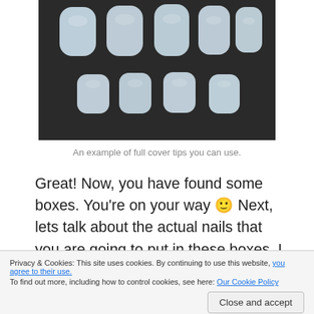[Figure (photo): Photo of white/light blue full cover nail tips arranged on a dark background, showing various sizes of plastic nail tips in two rows]
An example of full cover tips you can use.
Great! Now, you have found some boxes. You're on your way 🙂 Next, lets talk about the actual nails that you are going to put in these boxes. I went on to Amazon and searched for Full Cover Tips. There
Privacy & Cookies: This site uses cookies. By continuing to use this website, you agree to their use.
To find out more, including how to control cookies, see here: Our Cookie Policy
your customers. I would suggest starting small with